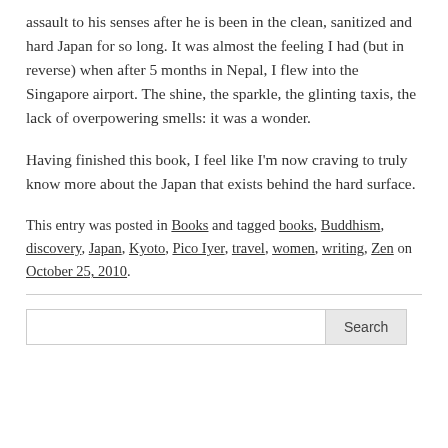assault to his senses after he is been in the clean, sanitized and hard Japan for so long. It was almost the feeling I had (but in reverse) when after 5 months in Nepal, I flew into the Singapore airport. The shine, the sparkle, the glinting taxis, the lack of overpowering smells: it was a wonder.
Having finished this book, I feel like I'm now craving to truly know more about the Japan that exists behind the hard surface.
This entry was posted in Books and tagged books, Buddhism, discovery, Japan, Kyoto, Pico Iyer, travel, women, writing, Zen on October 25, 2010.
Search